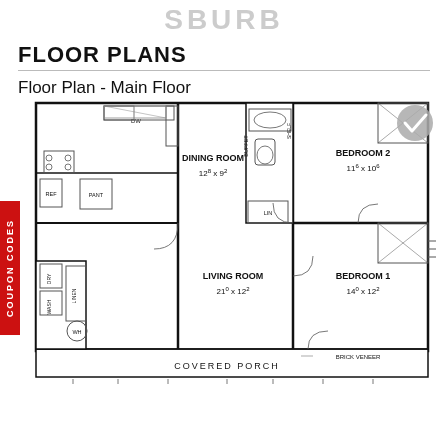SBURB
FLOOR PLANS
Floor Plan - Main Floor
[Figure (schematic): Main floor plan showing Dining Room (12x9), Bedroom 2 (11x10), Living Room (21x12), Bedroom 1 (14x12), kitchen, bathrooms, laundry, covered porch with brick veneer, buffet, shelving, and utility spaces.]